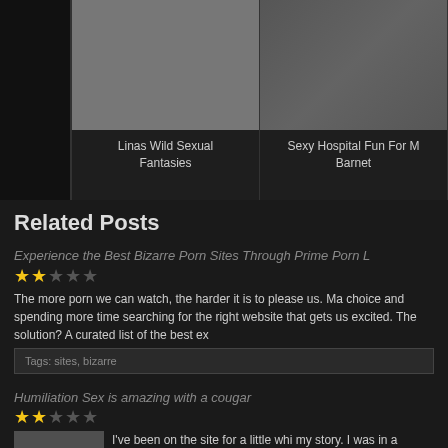[Figure (photo): Photo of two people kissing]
Linas Wild Sexual Fantasies
[Figure (photo): Gray placeholder image]
Sexy Hospital Fun For M Barnet
Related Posts
Experience the Best Bizarre Porn Sites Through Prime Porn L
★★★★★ (2 filled, 3 empty)
The more porn we can watch, the harder it is to please us. Ma choice and spending more time searching for the right website that gets us excited. The solution? A curated list of the best ex
Tags: sites, bizarre
Humiliation Sex is amazing with a cougar
★★★★★ (2 filled, 3 empty)
I've been on the site for a little whi my story. I was in a committed rela